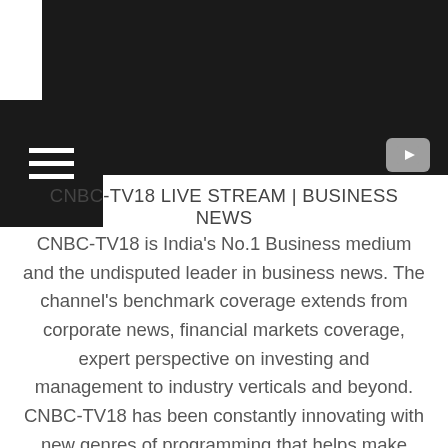[Figure (screenshot): Dark navigation bar with hamburger menu icon on left and YouTube play button icon on right]
CNBC-TV18 LIVE STREAM | BUSINESS NEWS
CNBC-TV18 is India's No.1 Business medium and the undisputed leader in business news. The channel's benchmark coverage extends from corporate news, financial markets coverage, expert perspective on investing and management to industry verticals and beyond. CNBC-TV18 has been constantly innovating with new genres of programming that helps make business more relevant to different constituencies across India. India's most able business audience consumes CNBC-TV18 for their information & investing needs. This audience is highly diversified at one level comprising of key groups such as business leaders, professionals, retail investors, brokers and traders, intermediaries, self-employed professionals, High Net Worth individuals